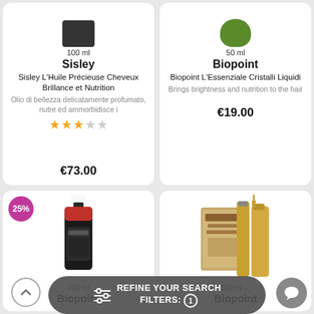[Figure (photo): Top-left product card: Sisley hair oil product, dark bottle partially visible, 100 ml label, brand Sisley, product name Sisley L'Huile Précieuse Cheveux Brillance et Nutrition, Italian description, 3-star rating, price €73.00]
[Figure (photo): Top-right product card: Biopoint L'Essenziale Cristalli Liquidi, green bottle partially visible, 50 ml label, brand Biopoint, description 'Brings brightness and nutrition to the hair', price €19.00]
[Figure (photo): Bottom-left product card: Biopoint black bottle with red cap, 25% discount badge, 200 ml label, brand Biopoint]
[Figure (photo): Bottom-right product card: Biopoint Ayurveda gold oil bottles in brown box, 100 ml label, brand Biopoint]
REFINE YOUR SEARCH FILTERS: 1